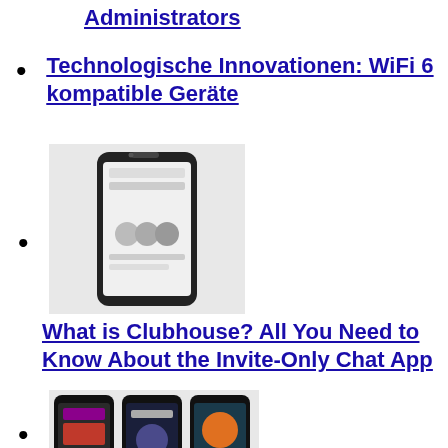Administrators
Technologische Innovationen: WiFi 6 kompatible Geräte
[Figure (photo): A smartphone displaying a social media or app screen, shown against a light background.]
What is Clubhouse? All You Need to Know About the Invite-Only Chat App
[Figure (photo): Three smartphones side by side showing different app screens including podcast and audio content apps.]
Apple and Spotify could spell the end of everything we love about podcasts
Oxygen leak kills 22 in Indian hospital as